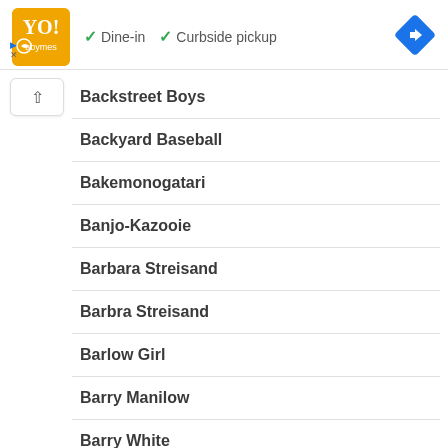[Figure (logo): Orange square ad logo with stylized text and decorative design]
✓ Dine-in  ✓ Curbside pickup
[Figure (illustration): Blue diamond navigation/directions icon with white arrow]
Backstreet Boys
Backyard Baseball
Bakemonogatari
Banjo-Kazooie
Barbara Streisand
Barbra Streisand
Barlow Girl
Barry Manilow
Barry White